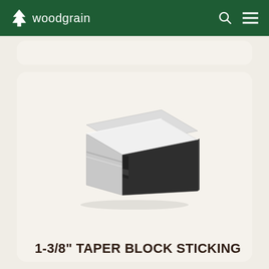woodgrain
[Figure (illustration): 3D isometric illustration of a 1-3/8 inch taper block sticking molding profile, showing a stacked rectangular block shape with white top surface and dark charcoal/black front face with groove detail on the left side]
1-3/8" TAPER BLOCK STICKING